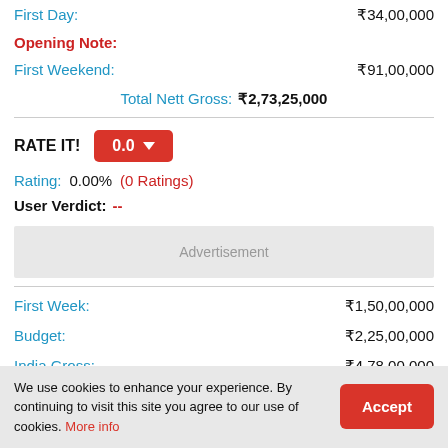First Day: ₹34,00,000
Opening Note:
First Weekend: ₹91,00,000
Total Nett Gross: ₹2,73,25,000
RATE IT! 0.0
Rating: 0.00% (0 Ratings)
User Verdict: --
Advertisement
First Week: ₹1,50,00,000
Budget: ₹2,25,00,000
India Gross: ₹4,78,00,000
We use cookies to enhance your experience. By continuing to visit this site you agree to our use of cookies. More info